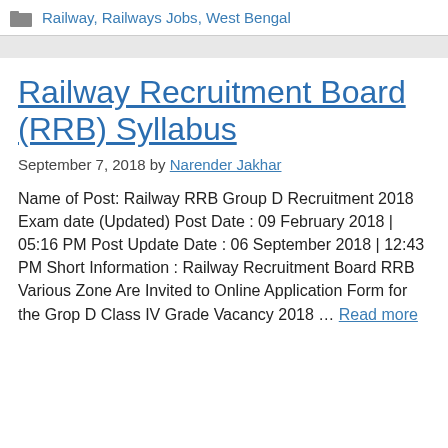Railway, Railways Jobs, West Bengal
Railway Recruitment Board (RRB) Syllabus
September 7, 2018 by Narender Jakhar
Name of Post: Railway RRB Group D Recruitment 2018 Exam date (Updated) Post Date : 09 February 2018 | 05:16 PM Post Update Date : 06 September 2018 | 12:43 PM Short Information : Railway Recruitment Board RRB Various Zone Are Invited to Online Application Form for the Grop D Class IV Grade Vacancy 2018 … Read more